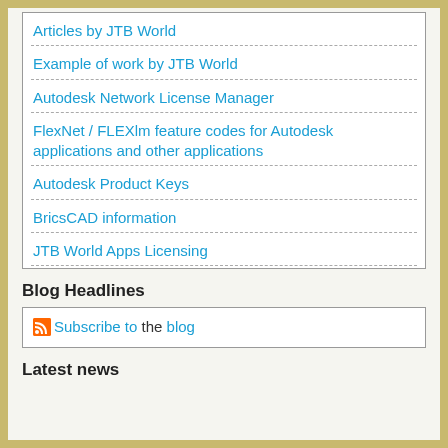Articles by JTB World
Example of work by JTB World
Autodesk Network License Manager
FlexNet / FLEXlm feature codes for Autodesk applications and other applications
Autodesk Product Keys
BricsCAD information
JTB World Apps Licensing
Blog Headlines
Subscribe to the blog
Latest news